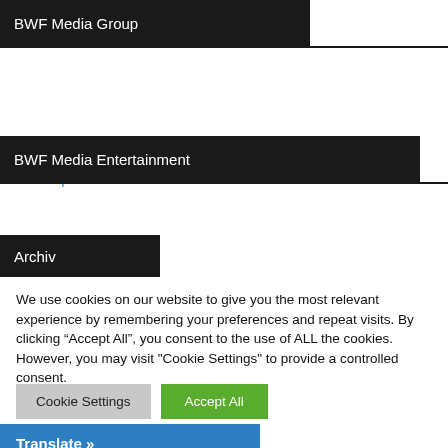BWF Media Group
BWF Media Group
BWF Media Entertainment
Archiv
We use cookies on our website to give you the most relevant experience by remembering your preferences and repeat visits. By clicking “Accept All”, you consent to the use of ALL the cookies. However, you may visit "Cookie Settings" to provide a controlled consent.
Cookie Settings
Accept All
Translate »